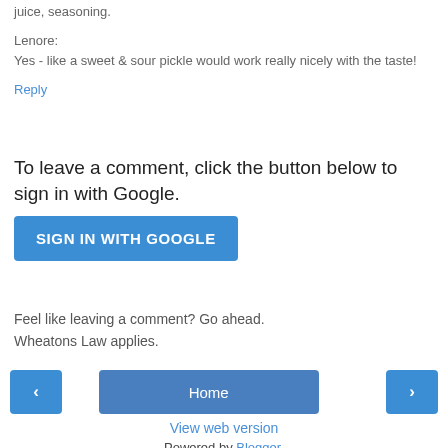juice, seasoning.
Lenore:
Yes - like a sweet & sour pickle would work really nicely with the taste!
Reply
To leave a comment, click the button below to sign in with Google.
[Figure (other): SIGN IN WITH GOOGLE button (blue rounded rectangle)]
Feel like leaving a comment? Go ahead.
Wheatons Law applies.
[Figure (other): Navigation bar with left arrow button, Home button, and right arrow button]
View web version
Powered by Blogger.